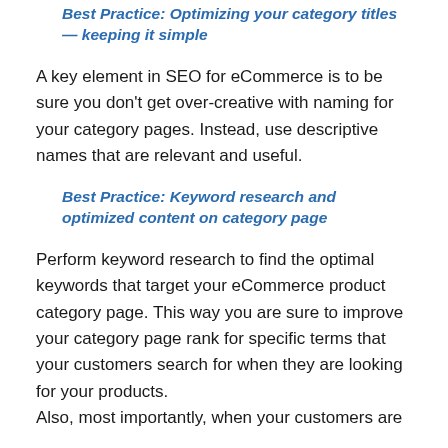Best Practice: Optimizing your category titles — keeping it simple
A key element in SEO for eCommerce is to be sure you don't get over-creative with naming for your category pages. Instead, use descriptive names that are relevant and useful.
Best Practice: Keyword research and optimized content on category page
Perform keyword research to find the optimal keywords that target your eCommerce product category page. This way you are sure to improve your category page rank for specific terms that your customers search for when they are looking for your products.
Also, most importantly, when your customers are